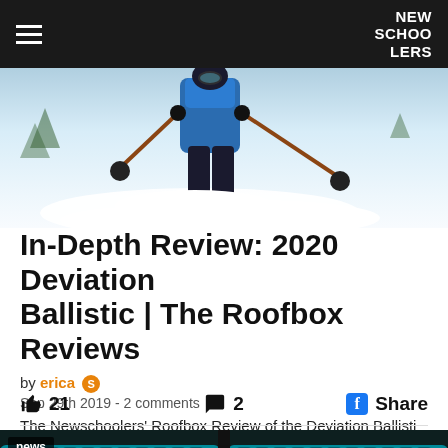NEW SCHOOLERS
[Figure (photo): Skier in blue jacket skiing through deep powder snow, action shot from below]
In-Depth Review: 2020 Deviation Ballistic | The Roofbox Reviews
by erica S
Sep 29th 2019 - 2 comments
The Newschoolers' Roofbox Review of the Deviation Ballisti
21   2   Share
[Figure (photo): Close-up of teal/black Nordica ski boot buckles on a dark background, with 'news' badge overlay]